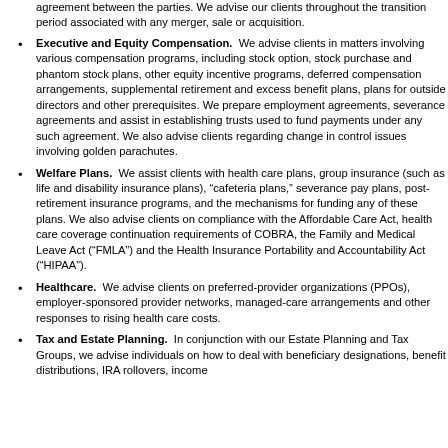agreement between the parties. We advise our clients throughout the transition period associated with any merger, sale or acquisition.
Executive and Equity Compensation.  We advise clients in matters involving various compensation programs, including stock option, stock purchase and phantom stock plans, other equity incentive programs, deferred compensation arrangements, supplemental retirement and excess benefit plans, plans for outside directors and other prerequisites. We prepare employment agreements, severance agreements and assist in establishing trusts used to fund payments under any such agreement. We also advise clients regarding change in control issues involving golden parachutes.
Welfare Plans.  We assist clients with health care plans, group insurance (such as life and disability insurance plans), "cafeteria plans," severance pay plans, post-retirement insurance programs, and the mechanisms for funding any of these plans. We also advise clients on compliance with the Affordable Care Act, health care coverage continuation requirements of COBRA, the Family and Medical Leave Act (“FMLA”) and the Health Insurance Portability and Accountability Act (“HIPAA”).
Healthcare.  We advise clients on preferred-provider organizations (PPOs), employer-sponsored provider networks, managed-care arrangements and other responses to rising health care costs.
Tax and Estate Planning.  In conjunction with our Estate Planning and Tax Groups, we advise individuals on how to deal with beneficiary designations, benefit distributions, IRA rollovers, income